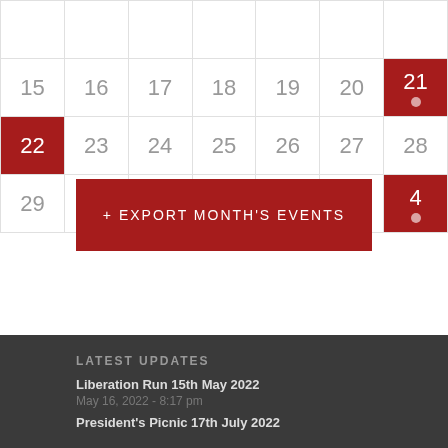| Sun | Mon | Tue | Wed | Thu | Fri | Sat |
| --- | --- | --- | --- | --- | --- | --- |
|  |  |  |  |  |  |  |
| 15 | 16 | 17 | 18 | 19 | 20 | 21● |
| 22 | 23 | 24 | 25 | 26 | 27 | 28 |
| 29 | 30 | 31 | 1 | 2 | 3 | 4● |
+ EXPORT MONTH'S EVENTS
LATEST UPDATES
Liberation Run 15th May 2022
May 16, 2022 - 8:17 pm
President's Picnic 17th July 2022